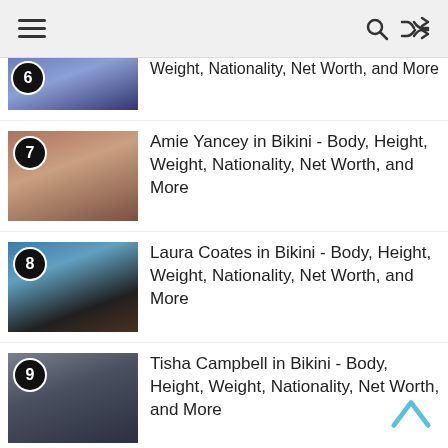Navigation bar with hamburger menu, search icon, and shuffle icon
[6] [partial] - Body, Height, Weight, Nationality, Net Worth, and More
[7] Amie Yancey in Bikini - Body, Height, Weight, Nationality, Net Worth, and More
[8] Laura Coates in Bikini - Body, Height, Weight, Nationality, Net Worth, and More
[9] Tisha Campbell in Bikini - Body, Height, Weight, Nationality, Net Worth, and More